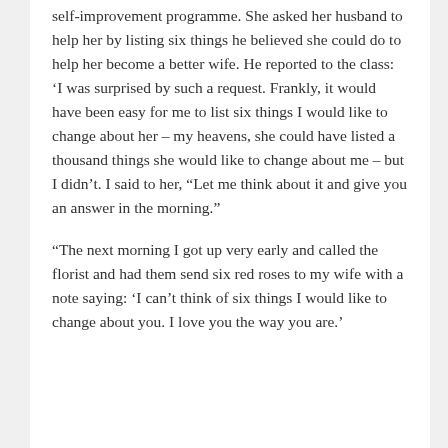self-improvement programme. She asked her husband to help her by listing six things he believed she could do to help her become a better wife. He reported to the class: ‘I was surprised by such a request. Frankly, it would have been easy for me to list six things I would like to change about her – my heavens, she could have listed a thousand things she would like to change about me – but I didn’t. I said to her, “Let me think about it and give you an answer in the morning.”
“The next morning I got up very early and called the florist and had them send six red roses to my wife with a note saying: ‘I can’t think of six things I would like to change about you. I love you the way you are.’